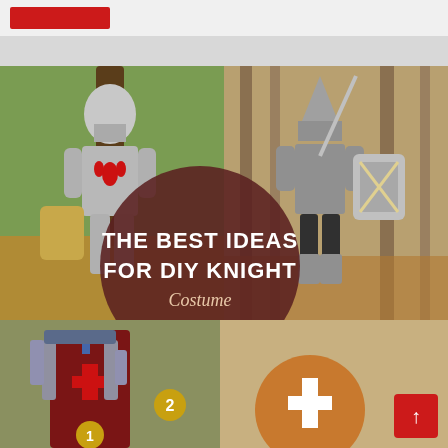[Figure (photo): Collage of children in DIY knight costumes. Left: child in silver foil armor with red fleur-de-lis emblem and helmet, holding a cardboard shield in an outdoor park setting. Right: child in grey chainmail-style costume with a pointed helmet and a silver decorative shield, standing among trees. Center overlay: a dark red/maroon circular shape with white bold text reading 'THE BEST IDEAS FOR DIY KNIGHT Costume'. Bottom left partial image shows another knight costume. Numbers 1 and 2 visible as ranking badges.]
THE BEST IDEAS FOR DIY KNIGHT Costume